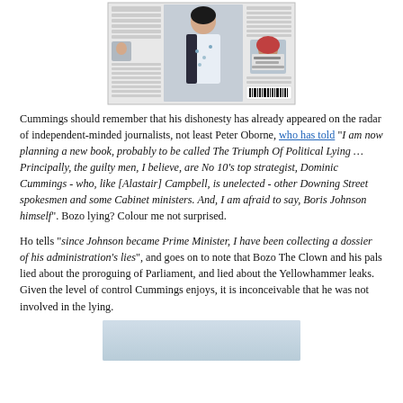[Figure (screenshot): Screenshot of a newspaper/magazine front page showing a woman in a floral dress and dark jacket holding a drink, with other content visible including a portrait inset of Nadiya Hussain and a barcode.]
Cummings should remember that his dishonesty has already appeared on the radar of independent-minded journalists, not least Peter Oborne, who has told “I am now planning a new book, probably to be called The Triumph Of Political Lying … Principally, the guilty men, I believe, are No 10’s top strategist, Dominic Cummings - who, like [Alastair] Campbell, is unelected - other Downing Street spokesmen and some Cabinet ministers. And, I am afraid to say, Boris Johnson himself”. Bozo lying? Colour me not surprised.
Ho tells “since Johnson became Prime Minister, I have been collecting a dossier of his administration’s lies”, and goes on to note that Bozo The Clown and his pals lied about the proroguing of Parliament, and lied about the Yellowhammer leaks. Given the level of control Cummings enjoys, it is inconceivable that he was not involved in the lying.
[Figure (screenshot): Partial screenshot of another image at the bottom of the page, light blue/grey background visible.]